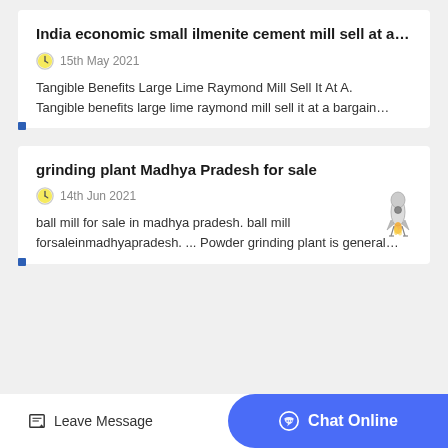India economic small ilmenite cement mill sell at a…
15th May 2021
Tangible Benefits Large Lime Raymond Mill Sell It At A. Tangible benefits large lime raymond mill sell it at a bargain…
grinding plant Madhya Pradesh for sale
14th Jun 2021
ball mill for sale in madhya pradesh. ball mill forsaleinmadhyapradesh. ... Powder grinding plant is general…
Leave Message
Chat Online